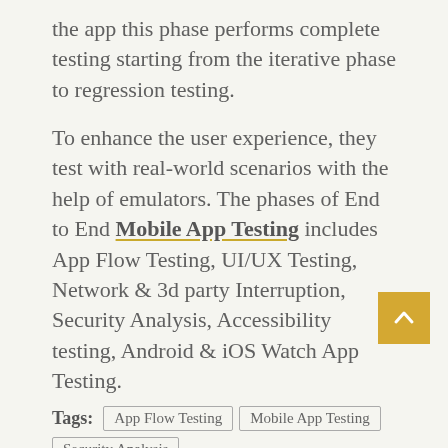the app this phase performs complete testing starting from the iterative phase to regression testing.
To enhance the user experience, they test with real-world scenarios with the help of emulators. The phases of End to End Mobile App Testing includes App Flow Testing, UI/UX Testing, Network & 3d party Interruption, Security Analysis, Accessibility testing, Android & iOS Watch App Testing.
Tags: App Flow Testing | Mobile App Testing | Security Analysis | UX Testing
Previous
[Figure (photo): Thumbnail photo for previous article]